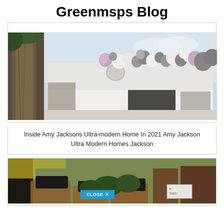Greenmsps Blog
[Figure (photo): A modern white house exterior decorated with a large balloon garland featuring white, grey, and pink balloons along the roofline, with a tree on the left side.]
Inside Amy Jacksons Ultra-modern Home In 2021 Amy Jackson Ultra Modern Homes Jackson
[Figure (photo): Partial view of a garden or outdoor market scene with raised wooden planters containing black items, hedges, and a blue 'CLOSE X' button overlay visible at the bottom.]